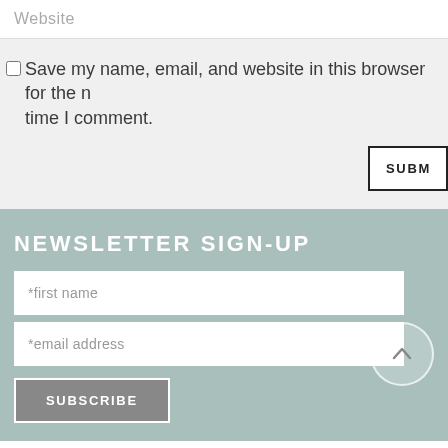Website
Save my name, email, and website in this browser for the next time I comment.
SUBMIT
NEWSLETTER SIGN-UP
*first name
*email address
SUBSCRIBE